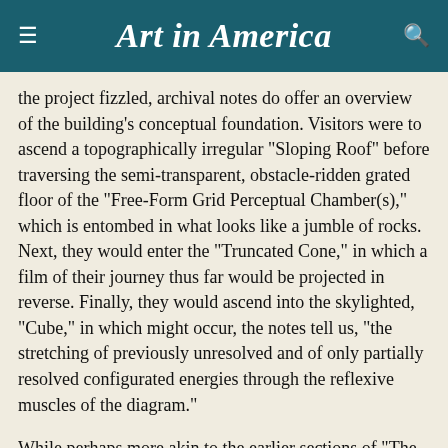Art in America
the project fizzled, archival notes do offer an overview of the building’s conceptual foundation. Visitors were to ascend a topographically irregular “Sloping Roof” before traversing the semi-transparent, obstacle-ridden grated floor of the “Free-Form Grid Perceptual Chamber(s),” which is entombed in what looks like a jumble of rocks. Next, they would enter the “Truncated Cone,” in which a film of their journey thus far would be projected in reverse. Finally, they would ascend into the skylighted, “Cube,” in which might occur, the notes tell us, “the stretching of previously unresolved and of only partially resolved configurated energies through the reflexive muscles of the diagram.”
While perhaps more akin to the earlier sections of “The Mechanism of Meaning” in its funhouse-as-dissociative-experience vibe, the Venice project is a precursor to the Bridge of Reversible Destiny (1987), on view in “Eternal